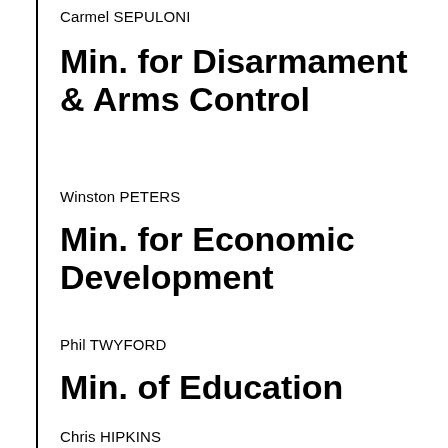Carmel SEPULONI
Min. for Disarmament & Arms Control
Winston PETERS
Min. for Economic Development
Phil TWYFORD
Min. of Education
Chris HIPKINS